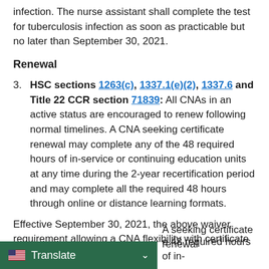infection. The nurse assistant shall complete the test for tuberculosis infection as soon as practicable but no later than September 30, 2021.
Renewal
3.   HSC sections 1263(c), 1337.1(e)(2), 1337.6 and Title 22 CCR section 71839: All CNAs in an active status are encouraged to renew following normal timelines. A CNA seeking certificate renewal may complete any of the 48 required hours of in-service or continuing education units at any time during the 2-year recertification period and may complete all the required 48 hours through online or distance learning formats.
Effective September 30, 2021, the above waiver requirement allowing a CNA flexibility with certificate renewal... A seeking certificate renewal ... e 48 required hours of in-